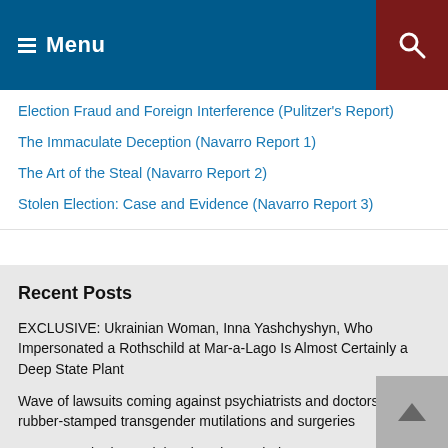Menu
Election Fraud and Foreign Interference (Pulitzer's Report)
The Immaculate Deception (Navarro Report 1)
The Art of the Steal (Navarro Report 2)
Stolen Election: Case and Evidence (Navarro Report 3)
Recent Posts
EXCLUSIVE: Ukrainian Woman, Inna Yashchyshyn, Who Impersonated a Rothschild at Mar-a-Lago Is Almost Certainly a Deep State Plant
Wave of lawsuits coming against psychiatrists and doctors who rubber-stamped transgender mutilations and surgeries
More… Zuckerberg Claimed Under Oath that Facebook Did Not Censor Hunter Biden Content — A Blatant Lie
More… Zuckerberg Claimed Under Oath that Facebook Did Not